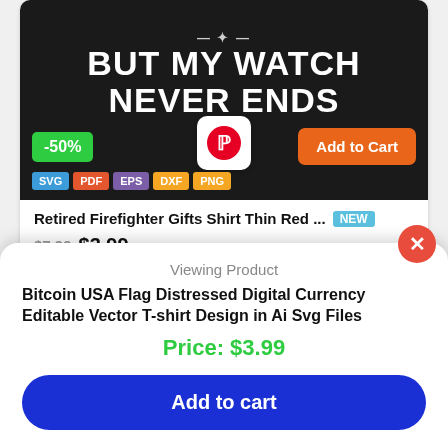[Figure (screenshot): Product listing card for Retired Firefighter Gifts Shirt with dark background showing text 'BUT MY WATCH NEVER ENDS', -50% badge, Pinterest button, Add to Cart button, and file format badges (SVG, PDF, EPS, DXF, PNG)]
Retired Firefighter Gifts Shirt Thin Red ... NEW $7.99 $3.99
by VTD Official
[Figure (screenshot): Product listing card showing 'PROUD TO BE A' text on dark background with American flag graphic below]
Viewing Product
Bitcoin USA Flag Distressed Digital Currency Editable Vector T-shirt Design in Ai Svg Files
Price: $3.99
Add to cart